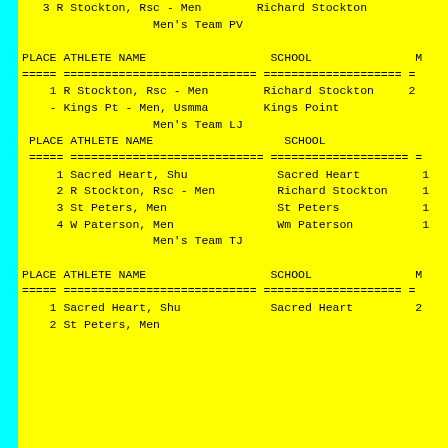3 R Stockton, Rsc - Men        Richard Stockton
Men's Team PV
| PLACE | ATHLETE NAME | SCHOOL | M |
| --- | --- | --- | --- |
| 1 | R Stockton, Rsc - Men | Richard Stockton | 2 |
| - | Kings Pt - Men, Usmma | Kings Point |  |
Men's Team LJ
| PLACE | ATHLETE NAME | SCHOOL |  |
| --- | --- | --- | --- |
| 1 | Sacred Heart, Shu | Sacred Heart | 1 |
| 2 | R Stockton, Rsc - Men | Richard Stockton | 1 |
| 3 | St Peters, Men | St Peters | 1 |
| 4 | W Paterson, Men | Wm Paterson | 1 |
Men's Team TJ
| PLACE | ATHLETE NAME | SCHOOL | M |
| --- | --- | --- | --- |
| 1 | Sacred Heart, Shu | Sacred Heart | 2 |
| 2 | St Peters, Men | St Peters |  |